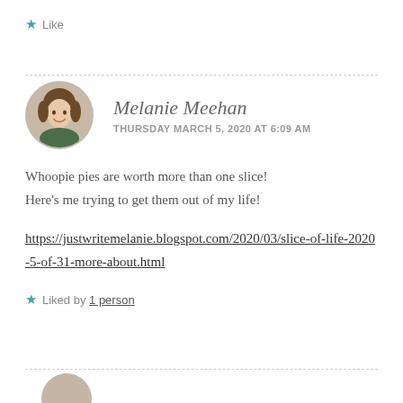Like
[Figure (other): Circular avatar photo of Melanie Meehan, a woman with brown hair smiling, bordered with a dashed circle.]
Melanie Meehan
THURSDAY MARCH 5, 2020 AT 6:09 AM
Whoopie pies are worth more than one slice!
Here's me trying to get them out of my life!
https://justwritemelanie.blogspot.com/2020/03/slice-of-life-2020-5-of-31-more-about.html
Liked by 1 person